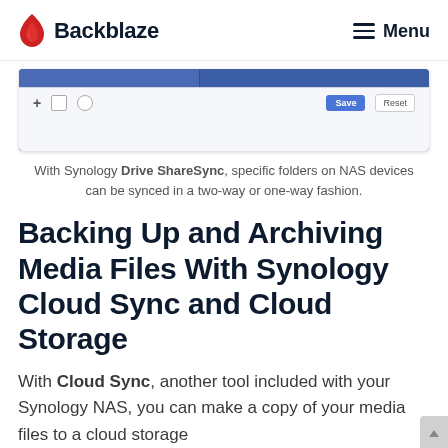Backblaze | Menu
[Figure (screenshot): Screenshot of Synology Drive ShareSync interface toolbar with Save and Reset buttons on a blue and light gray background]
With Synology Drive ShareSync, specific folders on NAS devices can be synced in a two-way or one-way fashion.
Backing Up and Archiving Media Files With Synology Cloud Sync and Cloud Storage
With Cloud Sync, another tool included with your Synology NAS, you can make a copy of your media files to a cloud storage